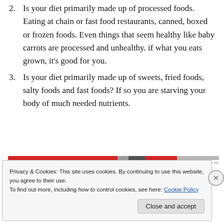Is your diet primarily made up of processed foods. Eating at chain or fast food restaurants, canned, boxed or frozen foods. Even things that seem healthy like baby carrots are processed and unhealthy. if what you eats grown, it's good for you.
Is your diet primarily made up of sweets, fried foods, salty foods and fast foods? If so you are starving your body of much needed nutrients.
[Figure (other): Advertisement bar with red and dark horizontal stripe]
Privacy & Cookies: This site uses cookies. By continuing to use this website, you agree to their use.
To find out more, including how to control cookies, see here: Cookie Policy